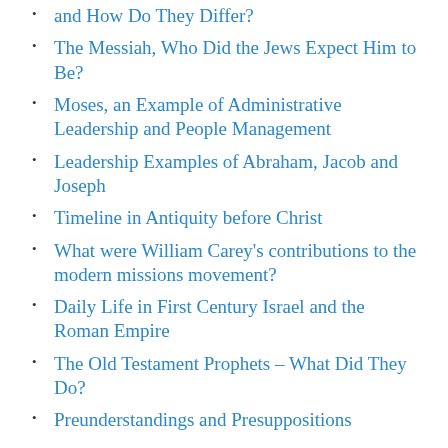and How Do They Differ?
The Messiah, Who Did the Jews Expect Him to Be?
Moses, an Example of Administrative Leadership and People Management
Leadership Examples of Abraham, Jacob and Joseph
Timeline in Antiquity before Christ
What were William Carey's contributions to the modern missions movement?
Daily Life in First Century Israel and the Roman Empire
The Old Testament Prophets – What Did They Do?
Preunderstandings and Presuppositions